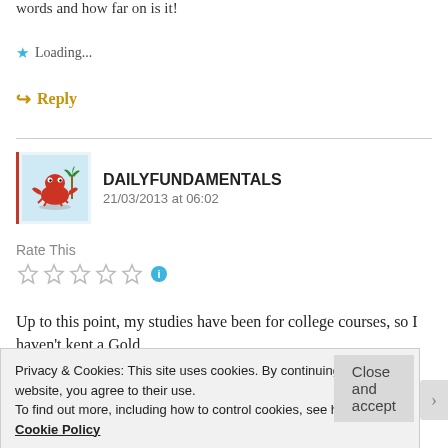words and how far on is it!
Loading...
Reply
DAILYFUNDAMENTALS
21/03/2013 at 06:02
Rate This
[Figure (other): Five empty star rating widgets with info icon]
Up to this point, my studies have been for college courses, so I haven't kept a Gold
Privacy & Cookies: This site uses cookies. By continuing to use this website, you agree to their use.
To find out more, including how to control cookies, see here: Our Cookie Policy
Close and accept